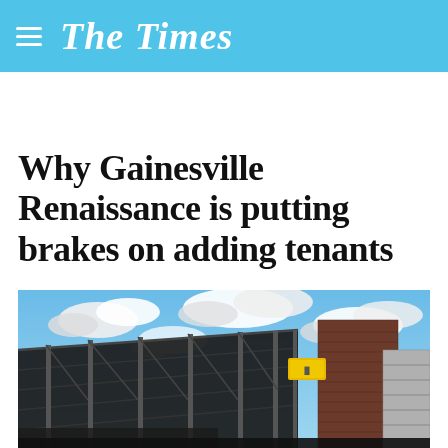The Times
Why Gainesville Renaissance is putting brakes on adding tenants
[Figure (photo): Low-angle view of a building under construction with steel scaffolding framework and a brick structure against a blue sky with white clouds.]